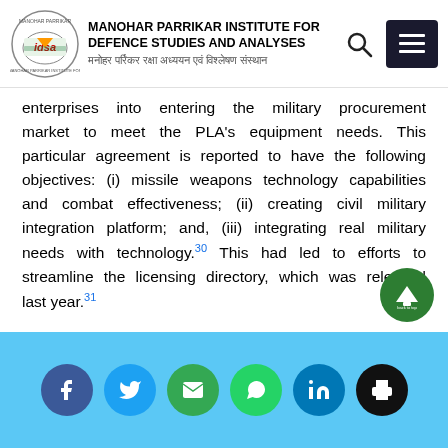MANOHAR PARRIKAR INSTITUTE FOR DEFENCE STUDIES AND ANALYSES
enterprises into entering the military procurement market to meet the PLA's equipment needs. This particular agreement is reported to have the following objectives: (i) missile weapons technology capabilities and combat effectiveness; (ii) creating civil military integration platform; and, (iii) integrating real military needs with technology.30 This had led to efforts to streamline the licensing directory, which was released last year.31
The leadership shuffle in the Equipment department was to bring in leaders who could facilitate and implement these new reforms. Major General Mo Junpeng (莫俊鹏) is one such example. In February 20...
Social share icons: Facebook, Twitter, Email, WhatsApp, LinkedIn, Print